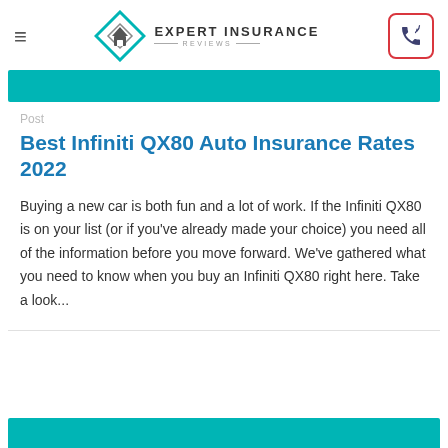Expert Insurance Reviews
[Figure (illustration): Teal banner bar at top of article]
Post
Best Infiniti QX80 Auto Insurance Rates 2022
Buying a new car is both fun and a lot of work. If the Infiniti QX80 is on your list (or if you've already made your choice) you need all of the information before you move forward. We've gathered what you need to know when you buy an Infiniti QX80 right here. Take a look...
[Figure (illustration): Teal banner bar at bottom of page]